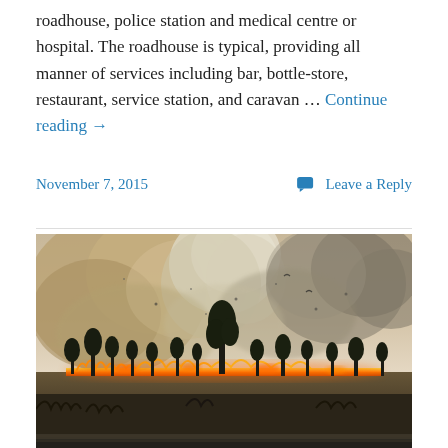roadhouse, police station and medical centre or hospital. The roadhouse is typical, providing all manner of services including bar, bottle-store, restaurant, service station, and caravan … Continue reading →
November 7, 2015   Leave a Reply
[Figure (photo): A grassfire or bushfire burning across a flat landscape with tall grasses in the foreground, flames visible along the horizon, sparse eucalyptus trees silhouetted against a large billowing cloud of brown and white smoke filling the sky.]